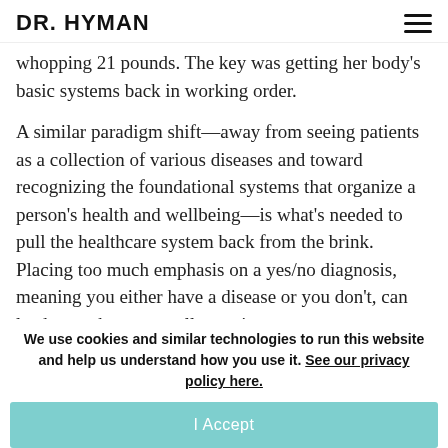DR. HYMAN
whopping 21 pounds. The key was getting her body’s basic systems back in working order.
A similar paradigm shift—away from seeing patients as a collection of various diseases and toward recognizing the foundational systems that organize a person’s health and wellbeing—is what’s needed to pull the healthcare system back from the brink. Placing too much emphasis on a yes/no diagnosis, meaning you either have a disease or you don’t, can lead even the most well meaning
We use cookies and similar technologies to run this website and help us understand how you use it. See our privacy policy here.
I Accept